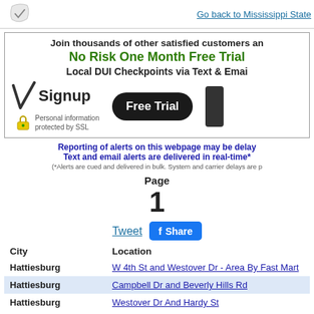Go back to Mississippi State
[Figure (other): Book/logo icon at top left]
Join thousands of other satisfied customers and get a
No Risk One Month Free Trial
Local DUI Checkpoints via Text & Email
[Figure (other): Signup form area with checkmark icon, Free Trial black button, and SSL lock badge]
Reporting of alerts on this webpage may be delayed.
Text and email alerts are delivered in real-time*
(*Alerts are cued and delivered in bulk. System and carrier delays are possible)
Page
1
Tweet   Share
| City | Location |
| --- | --- |
| Hattiesburg | W 4th St and Westover Dr - Area By Fast Mart |
| Hattiesburg | Campbell Dr and Beverly Hills Rd |
| Hattiesburg | Westover Dr And Hardy St |